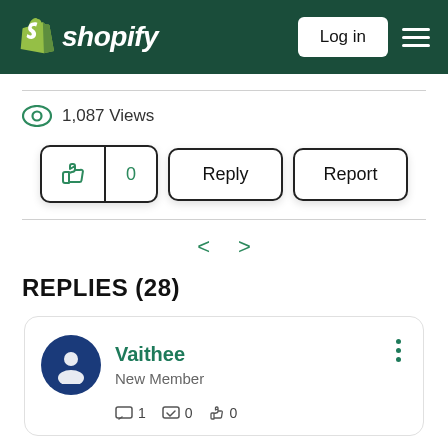Shopify — Log in
1,087 Views
Like 0 | Reply | Report
< >
REPLIES (28)
Vaithee
New Member